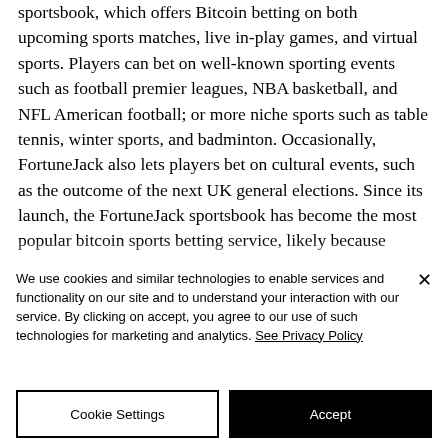sportsbook, which offers Bitcoin betting on both upcoming sports matches, live in-play games, and virtual sports. Players can bet on well-known sporting events such as football premier leagues, NBA basketball, and NFL American football; or more niche sports such as table tennis, winter sports, and badminton. Occasionally, FortuneJack also lets players bet on cultural events, such as the outcome of the next UK general elections. Since its launch, the FortuneJack sportsbook has become the most popular bitcoin sports betting service, likely because
We use cookies and similar technologies to enable services and functionality on our site and to understand your interaction with our service. By clicking on accept, you agree to our use of such technologies for marketing and analytics. See Privacy Policy